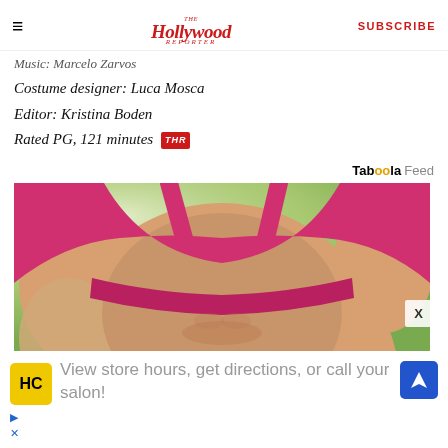The Hollywood Reporter | SUBSCRIBE
Music: Marcelo Zarvos
Costume designer: Luca Mosca
Editor: Kristina Boden
Rated PG, 121 minutes [THR]
Taboola Feed
[Figure (photo): Advertisement photo showing a woman's torso in a pink/magenta sports bra against a blurred green background]
[Figure (infographic): Advertisement banner: HC logo icon, navigation icon, text 'View store hours, get directions, or call your salon!']